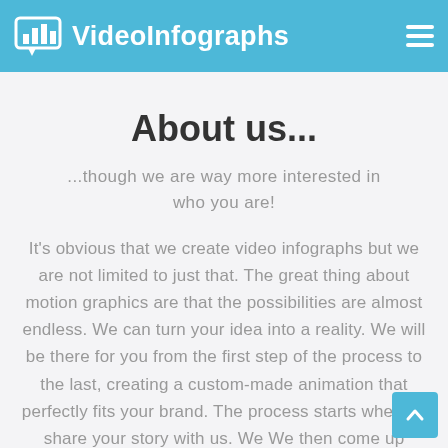VideoInfographs
About us...
...though we are way more interested in who you are!
It's obvious that we create video infographs but we are not limited to just that. The great thing about motion graphics are that the possibilities are almost endless. We can turn your idea into a reality. We will be there for you from the first step of the process to the last, creating a custom-made animation that perfectly fits your brand. The process starts whe you share your story with us. We We then come up